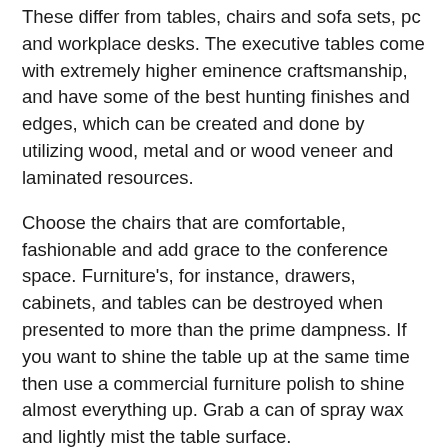These differ from tables, chairs and sofa sets, pc and workplace desks. The executive tables come with extremely higher eminence craftsmanship, and have some of the best hunting finishes and edges, which can be created and done by utilizing wood, metal and or wood veneer and laminated resources.
Choose the chairs that are comfortable, fashionable and add grace to the conference space. Furniture's, for instance, drawers, cabinets, and tables can be destroyed when presented to more than the prime dampness. If you want to shine the table up at the same time then use a commercial furniture polish to shine almost everything up. Grab a can of spray wax and lightly mist the table surface.
18,233 wood conference table stock images and photography are obtainable royalty-totally free. The mixture of wood and glass is widely utilized in desks and tables. Conference tables of lovely marble sorts in the